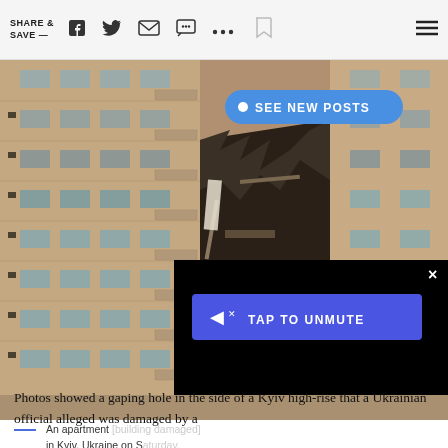SHARE & SAVE —
[Figure (photo): Damaged apartment building in Kyiv, Ukraine showing a gaping hole in the side of a high-rise building with debris, fire visible, balconies destroyed. Overlay: 'SEE NEW POSTS' button and 'TAP TO UNMUTE' video overlay.]
An apartment [building damaged] in Kyiv, Ukraine on S[aturday].
Photos showed a gaping hole in the side of a Kyiv high-rise that a Ukrainian official alleged was damaged by a